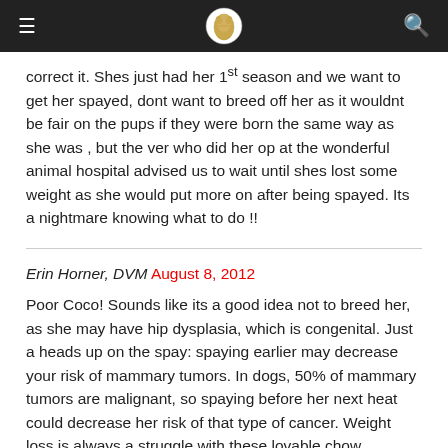[hamburger menu] [logo] [search icon]
correct it. Shes just had her 1st season and we want to get her spayed, dont want to breed off her as it wouldnt be fair on the pups if they were born the same way as she was , but the ver who did her op at the wonderful animal hospital advised us to wait until shes lost some weight as she would put more on after being spayed. Its a nightmare knowing what to do !!
Erin Horner, DVM August 8, 2012
Poor Coco! Sounds like its a good idea not to breed her, as she may have hip dysplasia, which is congenital. Just a heads up on the spay: spaying earlier may decrease your risk of mammary tumors. In dogs, 50% of mammary tumors are malignant, so spaying before her next heat could decrease her risk of that type of cancer. Weight loss is always a struggle with these lovable chow hounds... 🙂